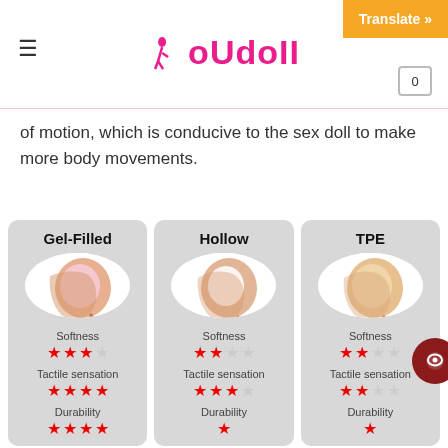loUdoII
of motion, which is conducive to the sex doll to make more body movements.
[Figure (infographic): Three comparison cards for breast types: Gel-Filled, Hollow, and TPE, each showing a cross-section illustration and star ratings for Softness, Tactile sensation, and Durability.]